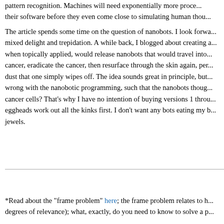pattern recognition. Machines will need exponentially more processing their software before they even come close to simulating human thou...
The article spends some time on the question of nanobots. I look forward with mixed delight and trepidation. A while back, I blogged about creating a cream, when topically applied, would release nanobots that would travel into the cancer, eradicate the cancer, then resurface through the skin again, perhaps as dust that one simply wipes off. The idea sounds great in principle, but what if something went wrong with the nanobotic programming, such that the nanobots thought all cells were cancer cells? That's why I have no intention of buying versions 1 through 9. Let the eggheads work out all the kinks first. I don't want any bots eating my body's crown jewels.
*Read about the "frame problem" here; the frame problem relates to h degrees of relevance); what, exactly, do you need to know to solve a p...